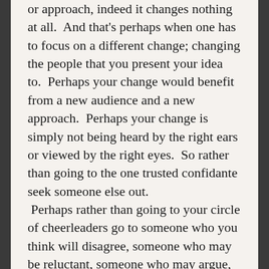or approach, indeed it changes nothing at all. And that's perhaps when one has to focus on a different change; changing the people that you present your idea to. Perhaps your change would benefit from a new audience and a new approach. Perhaps your change is simply not being heard by the right ears or viewed by the right eyes. So rather than going to the one trusted confidante seek someone else out. Perhaps rather than going to your circle of cheerleaders go to someone who you think will disagree, someone who may be reluctant, someone who may argue, and then see how your change holds up. Perhaps your change can meet someone else's change and together you can change something really big. Perhaps together you will find out that change is not really what is needed but